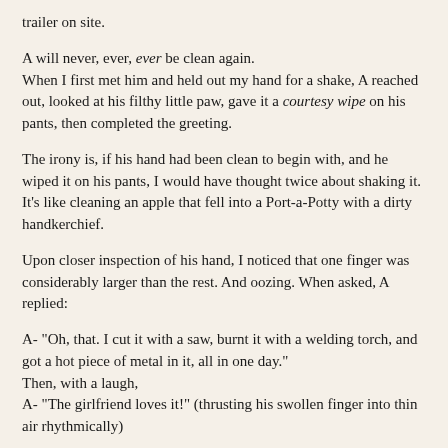trailer on site.
A will never, ever, ever be clean again. When I first met him and held out my hand for a shake, A reached out, looked at his filthy little paw, gave it a courtesy wipe on his pants, then completed the greeting.
The irony is, if his hand had been clean to begin with, and he wiped it on his pants, I would have thought twice about shaking it. It's like cleaning an apple that fell into a Port-a-Potty with a dirty handkerchief.
Upon closer inspection of his hand, I noticed that one finger was considerably larger than the rest. And oozing. When asked, A replied:
A- "Oh, that. I cut it with a saw, burnt it with a welding torch, and got a hot piece of metal in it, all in one day." Then, with a laugh, A- "The girlfriend loves it!" (thrusting his swollen finger into thin air rhythmically)